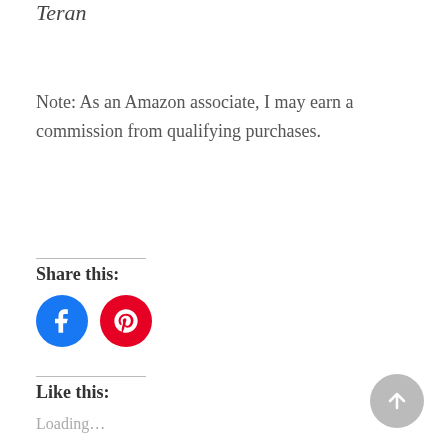Teran
Note: As an Amazon associate, I may earn a commission from qualifying purchases.
Share this:
[Figure (other): Facebook and Pinterest share icon buttons (circles)]
Like this:
Loading...